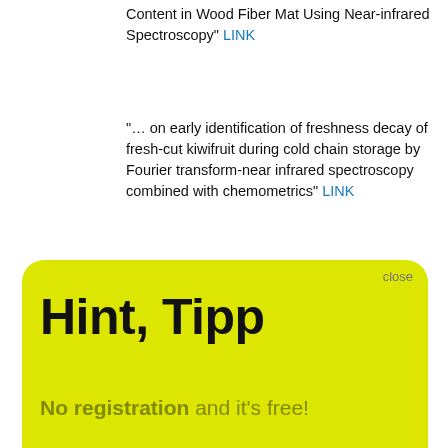Content in Wood Fiber Mat Using Near-infrared Spectroscopy" LINK
"… on early identification of freshness decay of fresh-cut kiwifruit during cold chain storage by Fourier transform-near infrared spectroscopy combined with chemometrics" LINK
Hint, Tipp
No registration and it's free!
There is a free NIR-Predictor Software.
>>> Show me <<<
We use cookies to ensure that we give you the best experience on our website. If you continue to use this site we will assume that you are happy with it.
Ok
selection methods in analysis of near-infrared spectral data" LINK
"Deep Learning-Based Multilevel Classification of Alzheimer's Disease Using Non-invasive Functional Near-Infrared Spectroscopy LINK